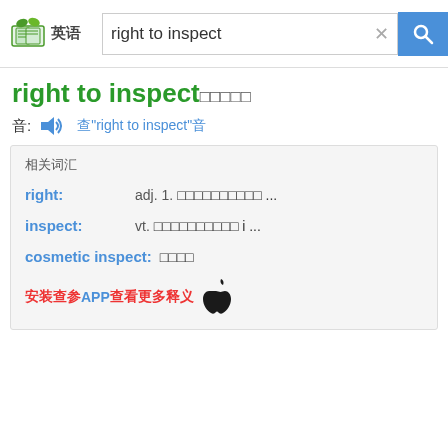查参 英语 | right to inspect [search bar]
right to inspect□□□□□
音: 🔊 查"right to inspect"音
相关词汇
right:    adj. 1.□□□□□□□□□□ ...
inspect:    vt. □□□□□□□□□□ i ...
cosmetic inspect:    □□□□
安装查参APP查看更多释义 🍎